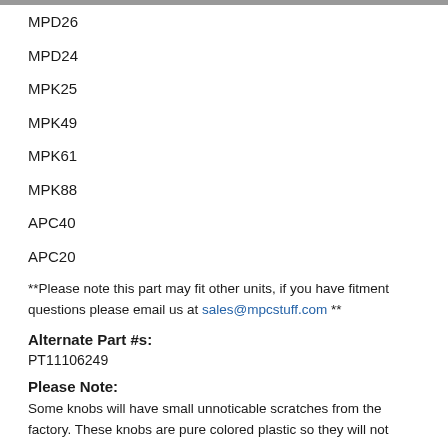MPD26
MPD24
MPK25
MPK49
MPK61
MPK88
APC40
APC20
**Please note this part may fit other units, if you have fitment questions please email us at sales@mpcstuff.com **
Alternate Part #s:
PT11106249
Please Note:
Some knobs will have small unnoticable scratches from the factory. These knobs are pure colored plastic so they will not